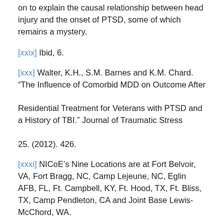on to explain the causal relationship between head injury and the onset of PTSD, some of which remains a mystery.
[xxix] Ibid, 6.
[xxx] Walter, K.H., S.M. Barnes and K.M. Chard. “The Influence of Comorbid MDD on Outcome After Residential Treatment for Veterans with PTSD and a History of TBI.” Journal of Traumatic Stress 25. (2012). 426.
[xxxi] NICoE’s Nine Locations are at Fort Belvoir, VA, Fort Bragg, NC, Camp Lejeune, NC, Eglin AFB, FL, Ft. Campbell, KY, Ft. Hood, TX, Ft. Bliss, TX, Camp Pendleton, CA and Joint Base Lewis-McChord, WA.
[xxxii] Aker, Janet. “Intrepid Spirit Centers Promote